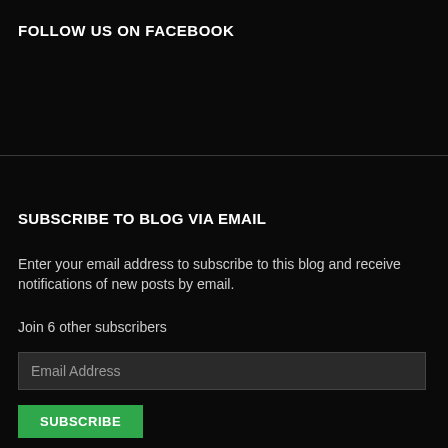FOLLOW US ON FACEBOOK
SUBSCRIBE TO BLOG VIA EMAIL
Enter your email address to subscribe to this blog and receive notifications of new posts by email.
Join 6 other subscribers
Email Address
SUBSCRIBE